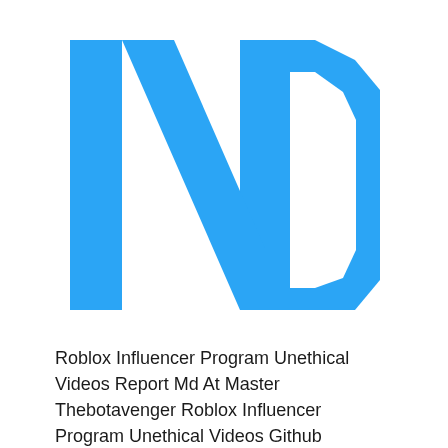[Figure (logo): ND logo in blue: large letter N on the left and a D shape (octagonal outline) on the right, both in bright blue (#2196F3 / dodger blue)]
Roblox Influencer Program Unethical Videos Report Md At Master Thebotavenger Roblox Influencer Program Unethical Videos Github